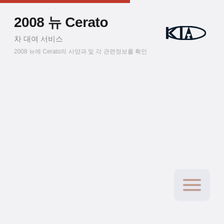2008 뉴 Cerato
차 대여 서비스
2008 뉴에 Cerato의 사양과 및 각 관련정보를 확인
[Figure (logo): Kia Motors logo in dark navy/black]
[Figure (other): Menu/hamburger icon button with three horizontal lines]